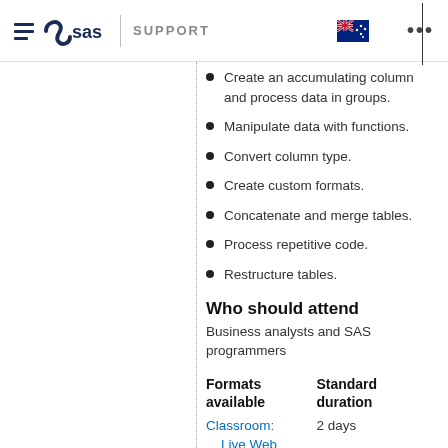SAS SUPPORT
Create an accumulating column and process data in groups.
Manipulate data with functions.
Convert column type.
Create custom formats.
Concatenate and merge tables.
Process repetitive code.
Restructure tables.
Who should attend
Business analysts and SAS programmers
| Formats available | Standard duration |
| --- | --- |
| Classroom:
Live Web | 2 days

5 half-day session(s) |